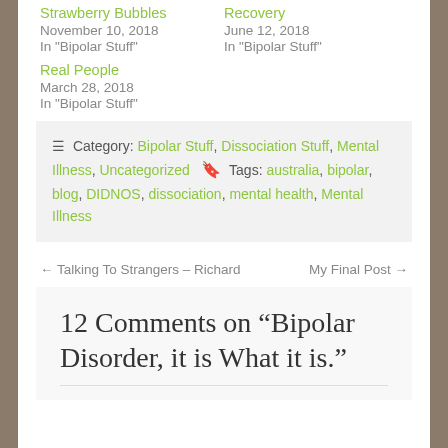Strawberry Bubbles
November 10, 2018
In "Bipolar Stuff"
Recovery
June 12, 2018
In "Bipolar Stuff"
Real People
March 28, 2018
In "Bipolar Stuff"
Category: Bipolar Stuff, Dissociation Stuff, Mental Illness, Uncategorized   Tags: australia, bipolar, blog, DIDNOS, dissociation, mental health, Mental Illness
← Talking To Strangers – Richard     My Final Post →
12 Comments on “Bipolar Disorder, it is What it is.”